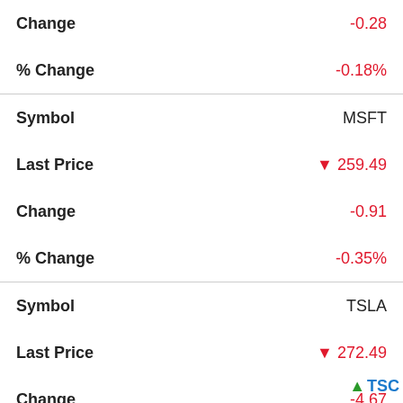| Field | Value |
| --- | --- |
| Change | -0.28 |
| % Change | -0.18% |
| Symbol | MSFT |
| Last Price | ▼ 259.49 |
| Change | -0.91 |
| % Change | -0.35% |
| Symbol | TSLA |
| Last Price | ▼ 272.49 |
| Change | -4.67 |
| % Change | -1.68% |